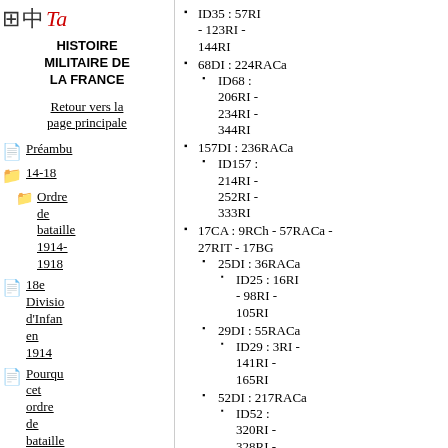[Figure (logo): Grid icon, Chinese character, and red italic 'Ta' logo]
Histoire militaire de la France
Retour vers la page principale
Préambu
14-18
Ordre de bataille 1914-1918
18e Division d'Infan en 1914
Pourqu cet ordre de bataille ?
Histoire des
ID35 : 57RI - 123RI - 144RI
68DI : 224RACa
ID68 : 206RI - 234RI - 344RI
157DI : 236RACa
ID157 : 214RI - 252RI - 333RI
17CA : 9RCh - 57RACa - 27RIT - 17BG
25DI : 36RACa
ID25 : 16RI - 98RI - 105RI
29DI : 55RACa
ID29 : 3RI - 141RI - 165RI
52DI : 217RACa
ID52 : 320RI - 328RI - 348RI